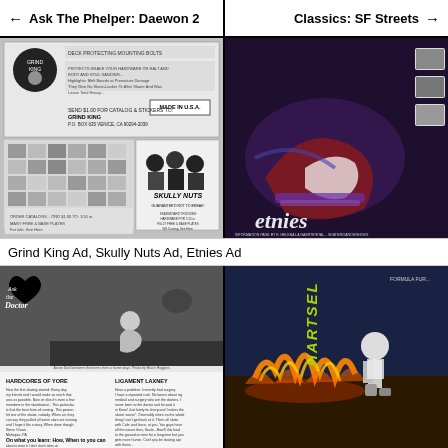← Ask The Phelper: Daewon 2   |   Classics: SF Streets →
[Figure (photo): Two vintage skateboard magazine advertisements side by side: Grind King hardware ad (black and white, showing bolt components, skull imagery, small product photos grid) and Skully Nuts ad (black and white illustration of three punk cartoon characters, text 'SKULLY NUTS GUARANTEED NOT TO BREAK', skateboard hardware products listed below)]
[Figure (photo): Etnies shoe advertisement in dark purple tones showing a skateboarder's feet with Etnies shoes performing a trick, with three small product shoe images on the right side and the Etnies logo at the bottom]
Grind King Ad, Skully Nuts Ad, Etnies Ad
[Figure (photo): Ask the Doctor column page from a skateboard magazine, black and white photo of a skateboarder doing a trick near a tree, with 'Ask the Doctor' logo in a heart shape, and two columns of text below including sections 'HARDCORES OF YORE' and 'LIGAMENT LAXNEY']
[Figure (photo): Hartsel skateboard advertisement showing a skateboarder near flames on the ground, with 'HARTSEL' text vertically on the left side in green/yellow letters, dark dramatic background with fire]